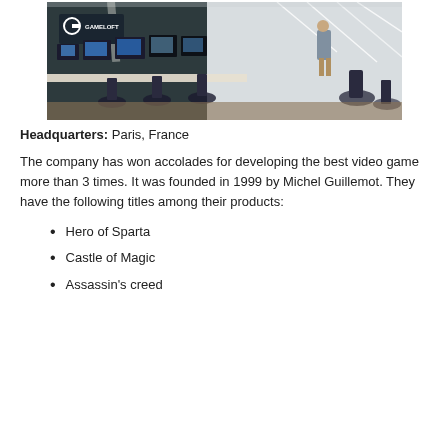[Figure (photo): Office interior of Gameloft showing rows of monitors and workstations with Gameloft logo on dark wall, a person standing in the background near white geometric wall art]
Headquarters: Paris, France
The company has won accolades for developing the best video game more than 3 times. It was founded in 1999 by Michel Guillemot. They have the following titles among their products:
Hero of Sparta
Castle of Magic
Assassin's creed